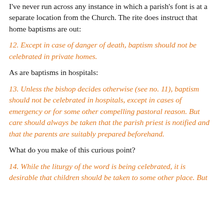I've never run across any instance in which a parish's font is at a separate location from the Church. The rite does instruct that home baptisms are out:
12. Except in case of danger of death, baptism should not be celebrated in private homes.
As are baptisms in hospitals:
13. Unless the bishop decides otherwise (see no. 11), baptism should not be celebrated in hospitals, except in cases of emergency or for some other compelling pastoral reason. But care should always be taken that the parish priest is notified and that the parents are suitably prepared beforehand.
What do you make of this curious point?
14. While the liturgy of the word is being celebrated, it is desirable that children should be taken to some other place. But